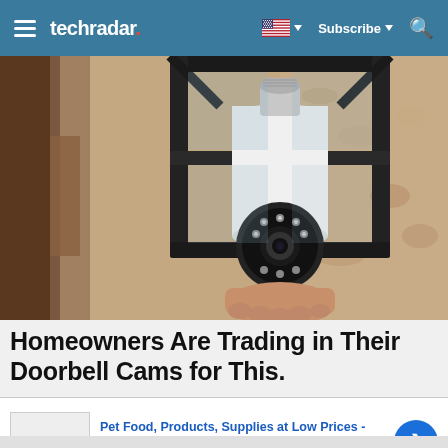techradar | Subscribe
[Figure (photo): Close-up photo of a security camera shaped like a light bulb, installed inside a black outdoor lantern/light fixture mounted on a textured stucco wall. A hand is partially visible installing the device.]
Homeowners Are Trading in Their Doorbell Cams for This.
Pet Food, Products, Supplies at Low Prices - Pay the lowest prices on pet supplies at Chewy.com | chewy.com